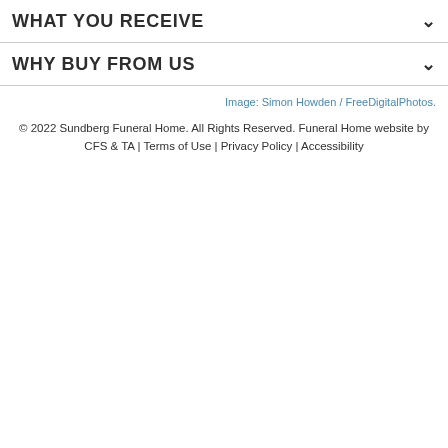WHAT YOU RECEIVE
WHY BUY FROM US
Image: Simon Howden / FreeDigitalPhotos.
© 2022 Sundberg Funeral Home. All Rights Reserved. Funeral Home website by CFS & TA | Terms of Use | Privacy Policy | Accessibility